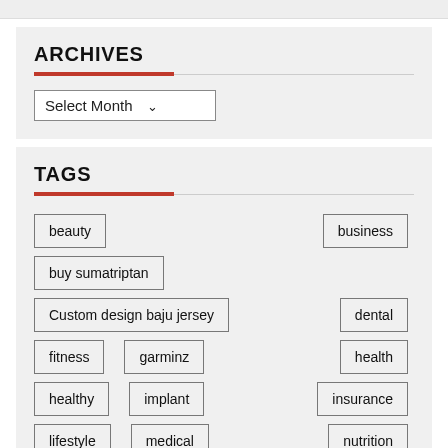ARCHIVES
Select Month
TAGS
beauty
business
buy sumatriptan
Custom design baju jersey
dental
fitness
garminz
health
healthy
implant
insurance
lifestyle
medical
nutrition